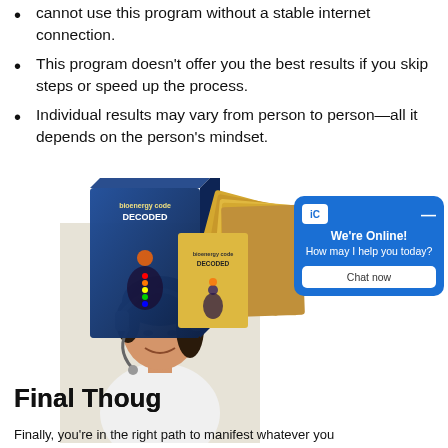cannot use this program without a stable internet connection.
This program doesn't offer you the best results if you skip steps or speed up the process.
Individual results may vary from person to person—all it depends on the person's mindset.
[Figure (photo): Product box for 'bionenergy code DECODED' with meditation figures and chakra imagery, alongside a woman wearing a headset smiling, with a live chat widget overlay.]
Final Thoughts
Finally, you're in the right path to manifest whatever you